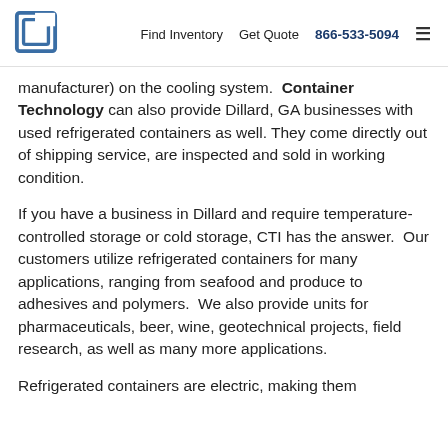Find Inventory  Get Quote  866-533-5094
manufacturer) on the cooling system.  Container Technology can also provide Dillard, GA businesses with used refrigerated containers as well. They come directly out of shipping service, are inspected and sold in working condition.
If you have a business in Dillard and require temperature-controlled storage or cold storage, CTI has the answer.  Our customers utilize refrigerated containers for many applications, ranging from seafood and produce to adhesives and polymers.  We also provide units for pharmaceuticals, beer, wine, geotechnical projects, field research, as well as many more applications.
Refrigerated containers are electric, making them